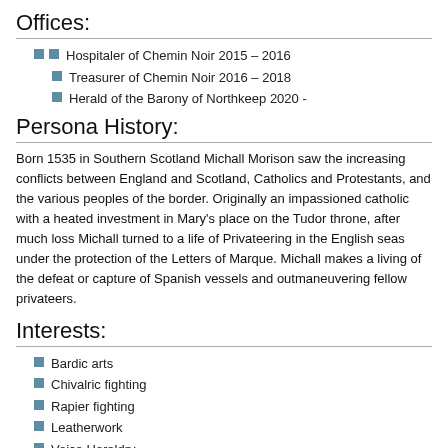Offices:
Hospitaler of Chemin Noir 2015 – 2016
Treasurer of Chemin Noir 2016 – 2018
Herald of the Barony of Northkeep 2020 -
Persona History:
Born 1535 in Southern Scotland Michall Morison saw the increasing conflicts between England and Scotland, Catholics and Protestants, and the various peoples of the border. Originally an impassioned catholic with a heated investment in Mary's place on the Tudor throne, after much loss Michall turned to a life of Privateering in the English seas under the protection of the Letters of Marque. Michall makes a living of the defeat or capture of Spanish vessels and outmaneuvering fellow privateers.
Interests:
Bardic arts
Chivalric fighting
Rapier fighting
Leatherwork
Voice Heraldry